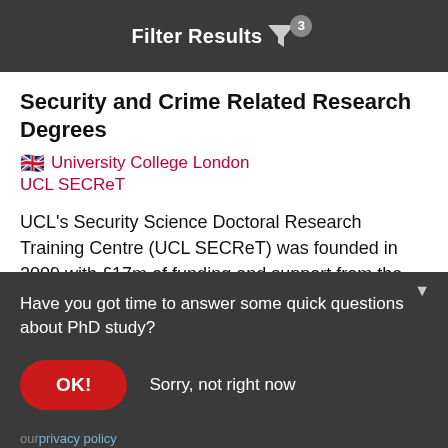Filter Results 3
Security and Crime Related Research Degrees
University College London
UCL SECReT
UCL's Security Science Doctoral Research Training Centre (UCL SECReT) was founded in 2009 with £17m of funding and support from the Engineering and
Have you got time to answer some quick questions about PhD study?
OK!    Sorry, not right now
our privacy policy